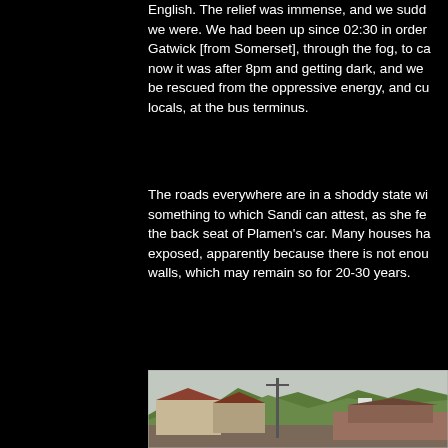English. The relief was immense, and we sudd… we were. We had been up since 02:30 in order … Gatwick [from Somerset], through the fog, to ca… now it was after 8pm and getting dark, and we … be rescued from the oppressive energy, and cu… locals, at the bus terminus.
The roads everywhere are in a shoddy state wi… something to which Sandi can attest, as she fe… the back seat of Plamen's car. Many houses ha… exposed, apparently because there is not enou… walls, which may remain so for 20-30 years.
[Figure (photo): A village scene showing stone and brick houses with terracotta tile roofs, an electricity pole in the middle ground, rubble/ruins in the foreground right, and green wooded hills in the background under an overcast sky.]